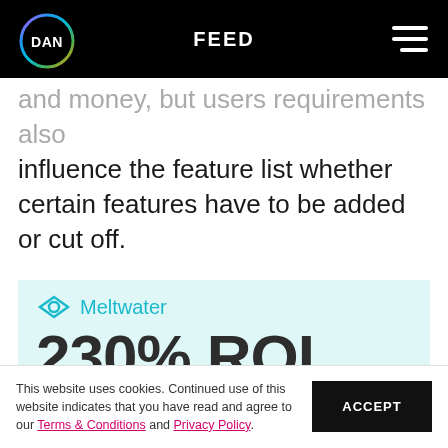FEED
and money, but users requirements also influence the feature list whether certain features have to be added or cut off.
[Figure (infographic): Meltwater advertisement banner with teal background showing logo and text '230% ROI in Three-Years']
This website uses cookies. Continued use of this website indicates that you have read and agree to our Terms & Conditions and Privacy Policy.